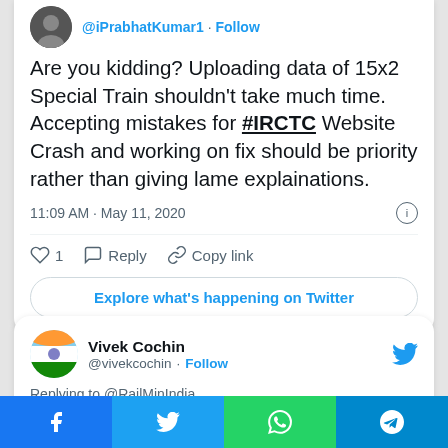@iPrabhatKumar1 · Follow
Are you kidding? Uploading data of 15x2 Special Train shouldn't take much time. Accepting mistakes for #IRCTC Website Crash and working on fix should be priority rather than giving lame explainations.
11:09 AM · May 11, 2020
♡ 1   Reply   Copy link
Explore what's happening on Twitter
Vivek Cochin @vivekcochin · Follow
Replying to @RailMinIndia